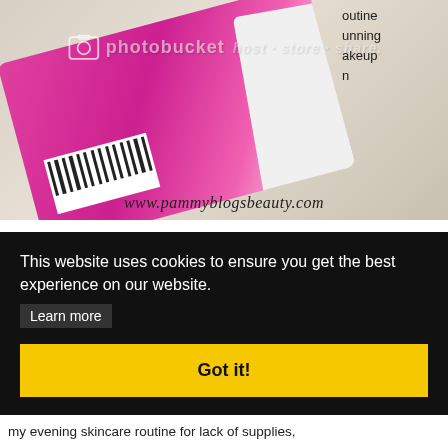[Figure (photo): Photo of a pink cotton swab product packaging (back side showing barcode) on a marble surface, with Photobucket watermark overlay and www.pammyblogsbeauty.com text at the bottom of the image.]
routine
running
makeup
en
This website uses cookies to ensure you get the best experience on our website.
Learn more
Got it!
my evening skincare routine for lack of supplies,